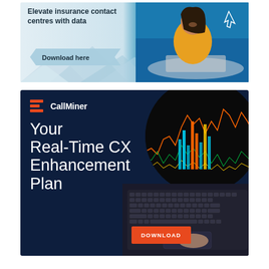[Figure (illustration): Advertisement banner: 'Elevate insurance contact centres with data' with a 'Download here' button and a photo of a smiling woman in a yellow sweater at a laptop, on a teal/blue background]
[Figure (illustration): CallMiner advertisement on dark navy background with logo, headline 'Your Real-Time CX Enhancement Plan', orange DOWNLOAD button, and photos of data analytics charts and a laptop keyboard]